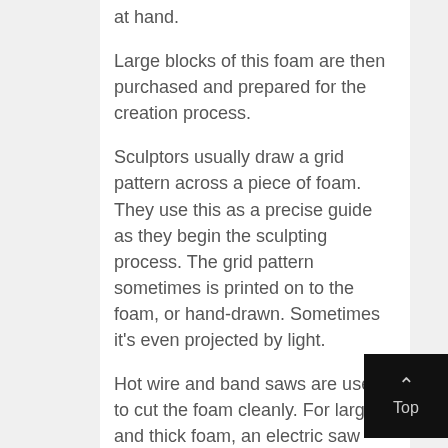at hand.
Large blocks of this foam are then purchased and prepared for the creation process.
Sculptors usually draw a grid pattern across a piece of foam. They use this as a precise guide as they begin the sculpting process. The grid pattern sometimes is printed on to the foam, or hand-drawn. Sometimes it’s even projected by light.
Hot wire and band saws are used to cut the foam cleanly. For large and thick foam, an electric saw might be